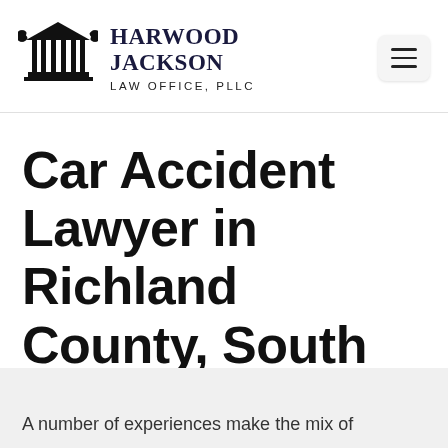[Figure (logo): Harwood Jackson Law Office, PLLC logo — a courthouse/pillars icon with laurel wreaths, firm name in serif bold, and law office subtitle]
Car Accident Lawyer in Richland County, South Carolina
A number of experiences make the mix of